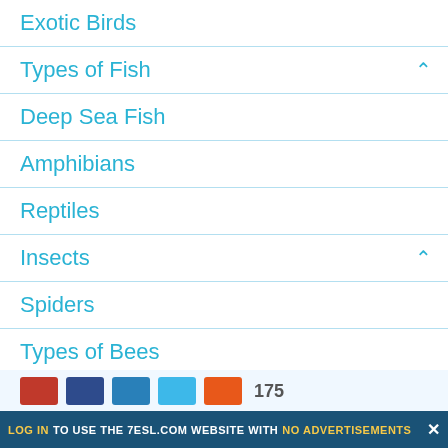Exotic Birds
Types of Fish
Deep Sea Fish
Amphibians
Reptiles
Insects
Spiders
Types of Bees
Types of Butterflies
Baby Animal Names
Animal Group Names
LOG IN TO USE THE 7ESL.COM WEBSITE WITH NO ADVERTISEMENTS